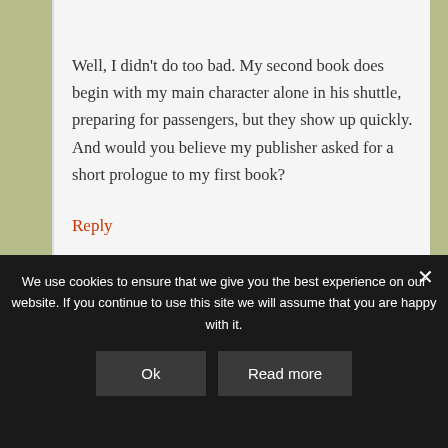Well, I didn't do too bad. My second book does begin with my main character alone in his shuttle, preparing for passengers, but they show up quickly. And would you believe my publisher asked for a short prologue to my first book?
Reply
We use cookies to ensure that we give you the best experience on our website. If you continue to use this site we will assume that you are happy with it.
Ok
Read more